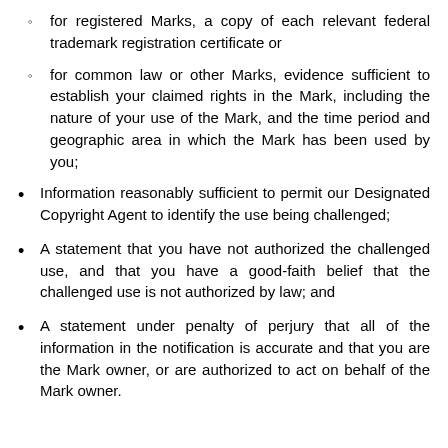for registered Marks, a copy of each relevant federal trademark registration certificate or
for common law or other Marks, evidence sufficient to establish your claimed rights in the Mark, including the nature of your use of the Mark, and the time period and geographic area in which the Mark has been used by you;
Information reasonably sufficient to permit our Designated Copyright Agent to identify the use being challenged;
A statement that you have not authorized the challenged use, and that you have a good-faith belief that the challenged use is not authorized by law; and
A statement under penalty of perjury that all of the information in the notification is accurate and that you are the Mark owner, or are authorized to act on behalf of the Mark owner.